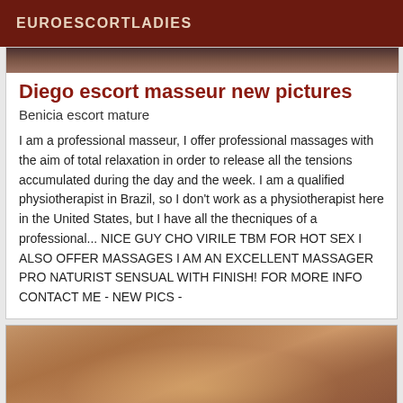EUROESCORTLADIES
[Figure (photo): Top cropped photo strip showing escort images]
Diego escort masseur new pictures
Benicia escort mature
I am a professional masseur, I offer professional massages with the aim of total relaxation in order to release all the tensions accumulated during the day and the week. I am a qualified physiotherapist in Brazil, so I don't work as a physiotherapist here in the United States, but I have all the thecniques of a professional... NICE GUY CHO VIRILE TBM FOR HOT SEX I ALSO OFFER MASSAGES I AM AN EXCELLENT MASSAGER PRO NATURIST SENSUAL WITH FINISH! FOR MORE INFO CONTACT ME - NEW PICS -
[Figure (photo): Bottom photo showing a person lying down, partial view]